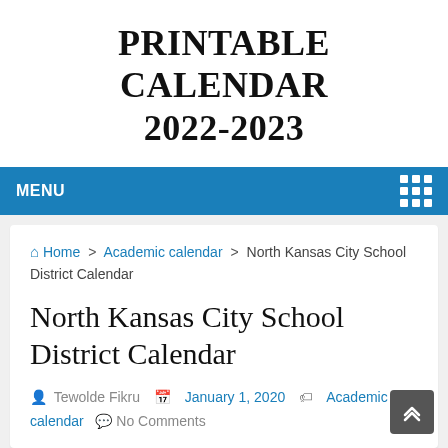PRINTABLE CALENDAR 2022-2023
MENU
Home > Academic calendar > North Kansas City School District Calendar
North Kansas City School District Calendar
Tewolde Fikru   January 1, 2020   Academic calendar   No Comments